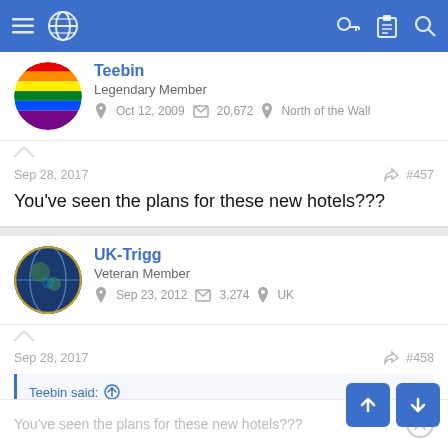Navigation bar with hamburger menu, globe icon, key icon, clipboard icon, search icon
Teebin
Legendary Member
Oct 12, 2009   20,672   North of the Wall
Sep 28, 2017   #457
You've seen the plans for these new hotels???
UK-Trigg
Veteran Member
Sep 23, 2012   3,274   UK
Sep 28, 2017   #458
Teebin said: ↑
You've seen the plans for these new hotels???